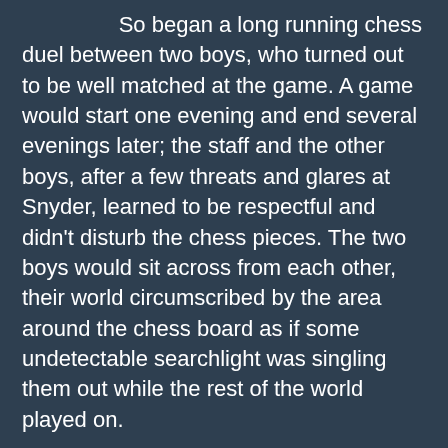So began a long running chess duel between two boys, who turned out to be well matched at the game. A game would start one evening and end several evenings later; the staff and the other boys, after a few threats and glares at Snyder, learned to be respectful and didn't disturb the chess pieces. The two boys would sit across from each other, their world circumscribed by the area around the chess board as if some undetectable searchlight was singling them out while the rest of the world played on.
One late-fall afternoon when they found themselves alone, they hiked the trail to the hot springs. A light snowfall over the previous few days had left an ankle-deep coating